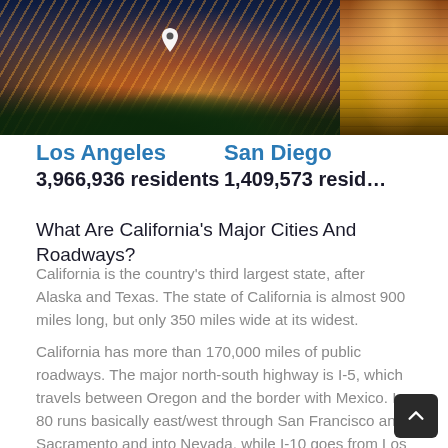[Figure (photo): Left: aerial night photo of Los Angeles with light trails on highway, with a location pin icon overlay. Right: partial view of a cylindrical golden-brown structure (San Diego landmark).]
Los Angeles
3,966,936 residents
San Diego
1,409,573 residents
What Are California's Major Cities And Roadways?
California is the country's third largest state, after Alaska and Texas. The state of California is almost 900 miles long, but only 350 miles wide at its widest.
California has more than 170,000 miles of public roadways. The major north-south highway is I-5, which travels between Oregon and the border with Mexico. I-80 runs basically east/west through San Francisco and Sacramento and into Nevada, while I-10 goes from Los Angeles to Nevada. In San Diego, I-8 runs east/west from the ocean into Nevada.